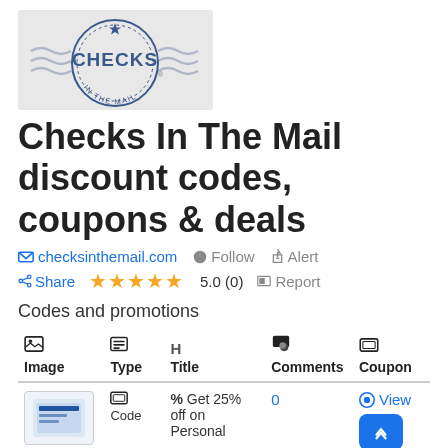[Figure (logo): Checks In The Mail logo: circular stamp design with star on top, wavy lines on sides, 'CHECKS' in bold blue text in the center, 'IN THE MAIL' around the bottom arc, on a light gray rectangular background]
Checks In The Mail discount codes, coupons & deals
checksinthemail.com   Follow   Alert
Share   ★★★★★ 5.0 (0)   Report
Codes and promotions
| Image | Type | H Title | Comments | Coupon |
| --- | --- | --- | --- | --- |
| [coupon thumbnail] | Code | % Get 25% off on Personal | 0 | View |